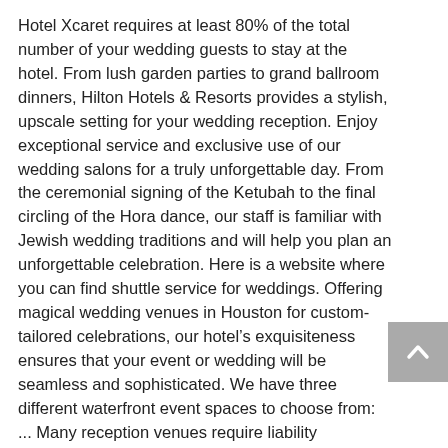Hotel Xcaret requires at least 80% of the total number of your wedding guests to stay at the hotel. From lush garden parties to grand ballroom dinners, Hilton Hotels & Resorts provides a stylish, upscale setting for your wedding reception. Enjoy exceptional service and exclusive use of our wedding salons for a truly unforgettable day. From the ceremonial signing of the Ketubah to the final circling of the Hora dance, our staff is familiar with Jewish wedding traditions and will help you plan an unforgettable celebration. Here is a website where you can find shuttle service for weddings. Offering magical wedding venues in Houston for custom-tailored celebrations, our hotel's exquisiteness ensures that your event or wedding will be seamless and sophisticated. We have three different waterfront event spaces to choose from: ... Many reception venues require liability insurance. Banquet Halls  |  11.7 miles from Redmond, WA, The Arctic Club Seattle - a DoubleTree by Hilton, Bell Harbor International Conference Center, Expand Your Search for Redmond Hotel Weddings. Something only ZaZa could do in an unforgettable Houston wedding ... (adsbygoogle = window.adsbygoogle ||